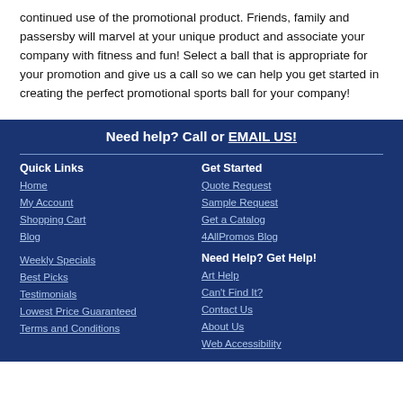continued use of the promotional product. Friends, family and passersby will marvel at your unique product and associate your company with fitness and fun! Select a ball that is appropriate for your promotion and give us a call so we can help you get started in creating the perfect promotional sports ball for your company!
Need help? Call or EMAIL US!
Quick Links
Home
My Account
Shopping Cart
Blog
Weekly Specials
Best Picks
Testimonials
Lowest Price Guaranteed
Terms and Conditions
Get Started
Quote Request
Sample Request
Get a Catalog
4AllPromos Blog
Need Help? Get Help!
Art Help
Can't Find It?
Contact Us
About Us
Web Accessibility